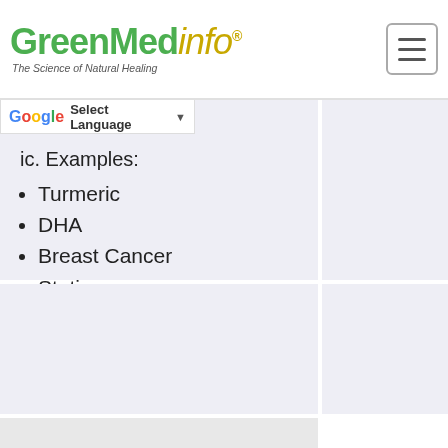GreenMedInfo - The Science of Natural Healing
ic. Examples:
Turmeric
DHA
Breast Cancer
Statins